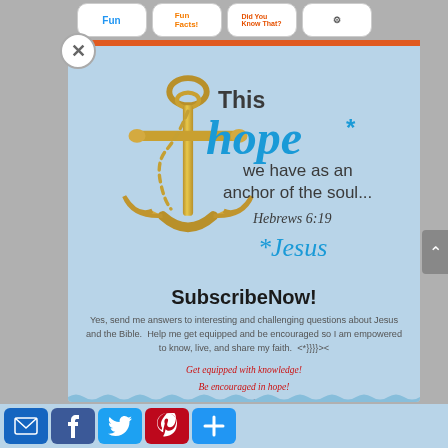[Figure (screenshot): Navigation bar with Fun, Fun Facts, Did You Know That?, and gear icon buttons]
[Figure (illustration): Gold anchor illustration with inspirational text overlay: 'This hope we have as an anchor of the soul... Hebrews 6:19 *Jesus' on light blue background]
SubscribeNow!
Yes, send me answers to interesting and challenging questions about Jesus and the Bible.  Help me get equipped and be encouraged so I am empowered to know, live, and share my faith.  <*}}}><
Get equipped with knowledge!
Be encouraged in hope!
Live empowered with love!
[Figure (infographic): Social sharing icons: email (blue), Facebook (blue), Twitter (light blue), Pinterest (red), Plus (blue)]